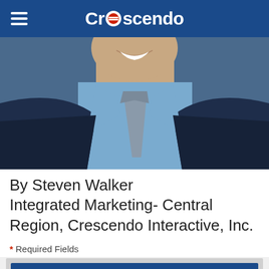Crescendo
[Figure (photo): Cropped professional headshot of a man smiling, wearing a navy blue suit, light blue shirt and grey tie, against a blue background. Only lower face, neck and upper torso visible.]
By Steven Walker
Integrated Marketing- Central Region, Crescendo Interactive, Inc.
* Required Fields
Post a Comment